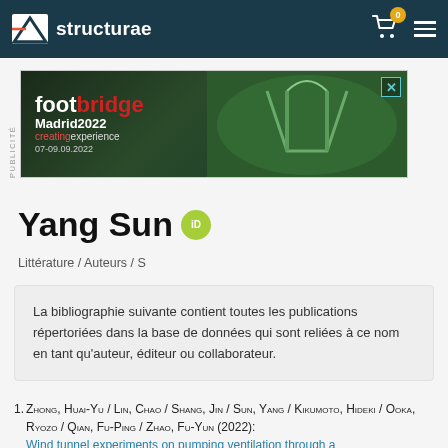Structurae
[Figure (other): Footbridge Madrid 2022 creating experience 07-09.09.2022 advertisement banner with bridge aerial photo]
Yang Sun iD
Littérature / Auteurs / S
La bibliographie suivante contient toutes les publications répertoriées dans la base de données qui sont reliées à ce nom en tant qu'auteur, éditeur ou collaborateur.
1. Zhong, Huai-Yu / Lin, Chao / Shang, Jin / Sun, Yang / Kikumoto, Hideki / Ooka, Ryozo / Qian, Fu-Ping / Zhao, Fu-Yun (2022): Wind tunnel experiments on pumping ventilation through a